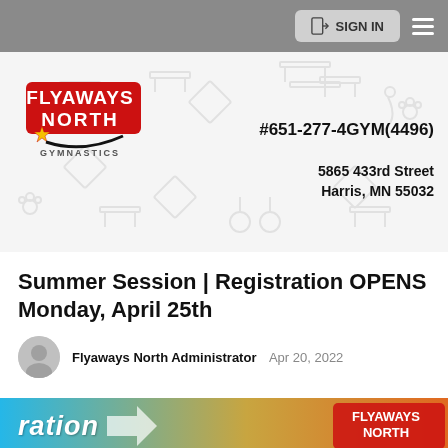SIGN IN
[Figure (logo): Flyaways North Gymnastics logo — red and black text with a star and swoosh graphic]
#651-277-4GYM(4496)
5865 433rd Street
Harris, MN 55032
Summer Session | Registration OPENS Monday, April 25th
Flyaways North Administrator   Apr 20, 2022
[Figure (photo): Partial banner image with blue and orange colors showing partial text 'ration' and partial Flyaways logo]